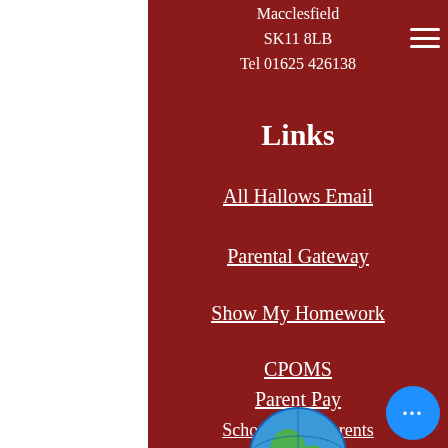Macclesfield
SK11 8LB
Tel 01625 426138
Links
All Hallows Email
Parental Gateway
Show My Homework
CPOMS
Parent Pay
SchoolCloud Parents Evenings
[Figure (logo): A globe/earth logo partially visible at the bottom of the page]